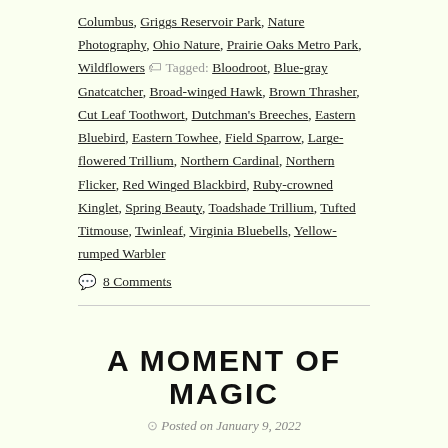Columbus, Griggs Reservoir Park, Nature Photography, Ohio Nature, Prairie Oaks Metro Park, Wildflowers 🏷 Tagged: Bloodroot, Blue-gray Gnatcatcher, Broad-winged Hawk, Brown Thrasher, Cut Leaf Toothwort, Dutchman's Breeches, Eastern Bluebird, Eastern Towhee, Field Sparrow, Large-flowered Trillium, Northern Cardinal, Northern Flicker, Red Winged Blackbird, Ruby-crowned Kinglet, Spring Beauty, Toadshade Trillium, Tufted Titmouse, Twinleaf, Virginia Bluebells, Yellow-rumped Warbler
💬 8 Comments
A MOMENT OF MAGIC
Posted on January 9, 2022
The central Ohio winter landscape seldom beckons with